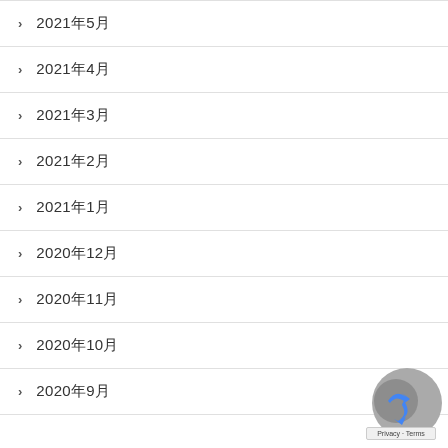> 2021年5月
> 2021年4月
> 2021年3月
> 2021年2月
> 2021年1月
> 2020年12月
> 2020年11月
> 2020年10月
> 2020年9月